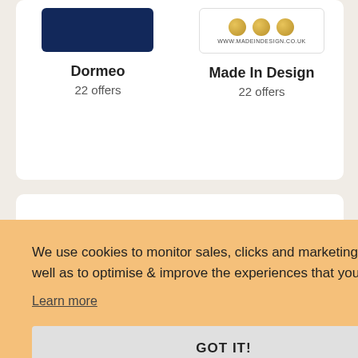[Figure (logo): Dormeo brand logo: dark navy blue rectangle]
Dormeo
22 offers
[Figure (logo): Made In Design logo with three gold circles and URL www.madeindesign.co.uk]
Made In Design
22 offers
We use cookies to monitor sales, clicks and marketing performance as well as to optimise & improve the experiences that you receive.
Learn more
GOT IT!
need to click on the "GET CODE"